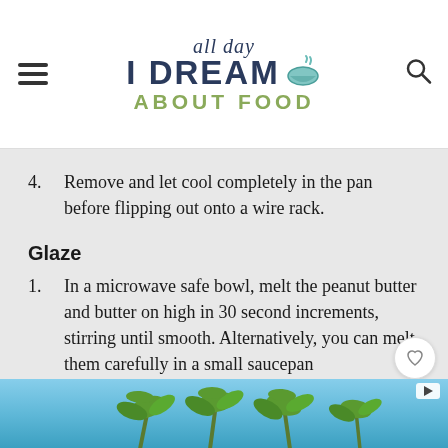all day I DREAM ABOUT FOOD
4. Remove and let cool completely in the pan before flipping out onto a wire rack.
Glaze
1. In a microwave safe bowl, melt the peanut butter and butter on high in 30 second increments, stirring until smooth. Alternatively, you can melt them carefully in a small saucepan
[Figure (photo): Advertisement banner showing palm trees against a blue sky]